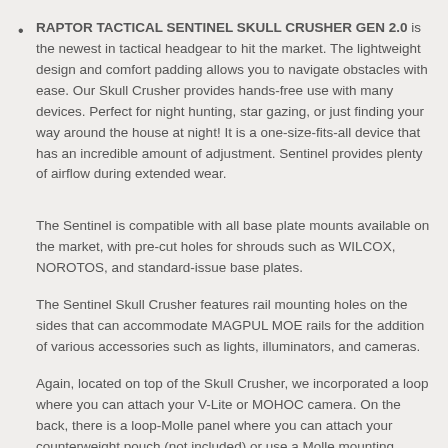RAPTOR TACTICAL SENTINEL SKULL CRUSHER GEN 2.0 is the newest in tactical headgear to hit the market. The lightweight design and comfort padding allows you to navigate obstacles with ease. Our Skull Crusher provides hands-free use with many devices. Perfect for night hunting, star gazing, or just finding your way around the house at night! It is a one-size-fits-all device that has an incredible amount of adjustment. Sentinel provides plenty of airflow during extended wear.
The Sentinel is compatible with all base plate mounts available on the market, with pre-cut holes for shrouds such as WILCOX, NOROTOS, and standard-issue base plates.
The Sentinel Skull Crusher features rail mounting holes on the sides that can accommodate MAGPUL MOE rails for the addition of various accessories such as lights, illuminators, and cameras.
Again, located on top of the Skull Crusher, we incorporated a loop where you can attach your V-Lite or MOHOC camera. On the back, there is a loop-Molle panel where you can attach your counterweight pouch (not included) or use a Molle mounting system to add your pouch. On each side and a top, we provide three access points for your cables that can get weaved through internally giving you a slick, clean, and ergonomic look.